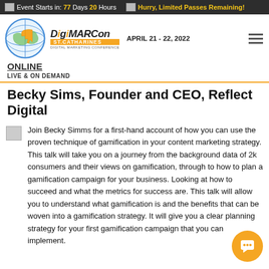Event Starts in: 77 Days 20 Hours  Hurry, Limited Passes Remaining!
[Figure (logo): DigiMarCon St. Catharines Digital Marketing Conference logo with globe and cursor icon, April 21-22, 2022]
ONLINE
LIVE & ON DEMAND
Becky Sims, Founder and CEO, Reflect Digital
Join Becky Simms for a first-hand account of how you can use the proven technique of gamification in your content marketing strategy. This talk will take you on a journey from the background data of 2k consumers and their views on gamification, through to how to plan a gamification campaign for your business. Looking at how to succeed and what the metrics for success are. This talk will allow you to understand what gamification is and the benefits that can be woven into a gamification strategy. It will give you a clear planning strategy for your first gamification campaign that you can implement.